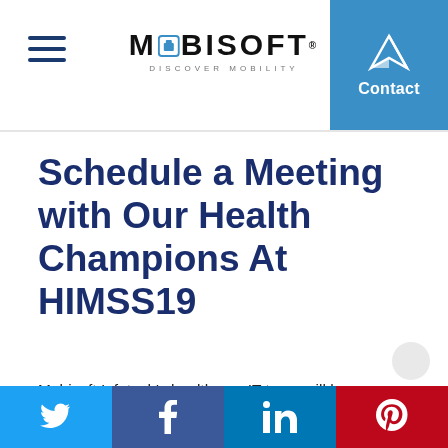MOBISOFT DISCOVER MOBILITY
Schedule a Meeting with Our Health Champions At HIMSS19
Mobisoft Infotech's healthcare IT team will be
Twitter | Facebook | LinkedIn | Pinterest